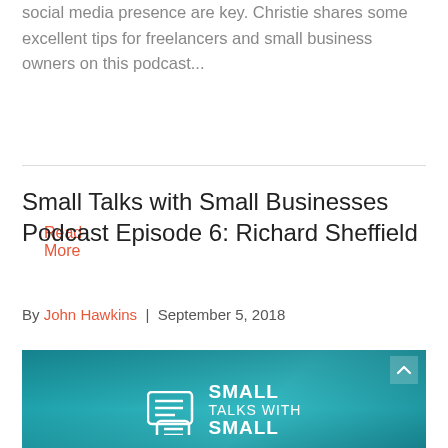social media presence are key. Christie shares some excellent tips for freelancers and small business owners on this podcast...
Read More
Small Talks with Small Businesses Podcast Episode 6: Richard Sheffield
By John Hawkins | September 5, 2018
[Figure (photo): Teal-tinted image of people with a 'Small Talks with Small' podcast logo overlay featuring speech bubble icon]